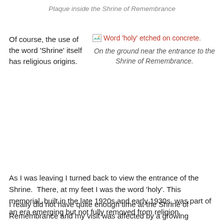Plaque inside the Shrine of Remembrance
Of course, the use of the word 'Shrine' itself has religious origins.
[Figure (photo): Word 'holy' etched on concrete.]
On the ground near the entrance to the Shrine of Remembrance.
As I was leaving I turned back to view the entrance of the Shrine.  There, at my feet I was the word 'holy'. This memorial, built in the late 1920s and early 1930s, was part of an era emerging but not fully removed from religion.
I really did not have quite enough time at the Shrine of Remembrance and my visit was affected by a growing